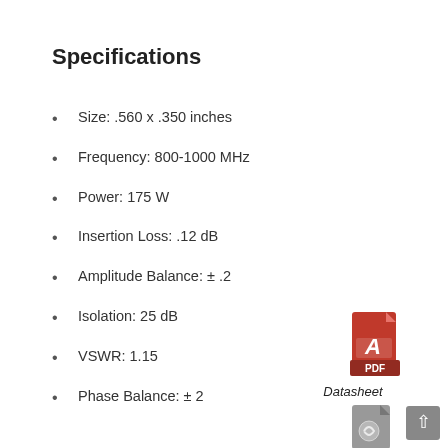Specifications
Size: .560 x .350 inches
Frequency: 800-1000 MHz
Power: 175 W
Insertion Loss: .12 dB
Amplitude Balance: ± .2
Isolation: 25 dB
VSWR: 1.15
Phase Balance: ± 2
[Figure (other): PDF icon for Datasheet download]
Datasheet
[Figure (other): Second document icon (partially visible)]